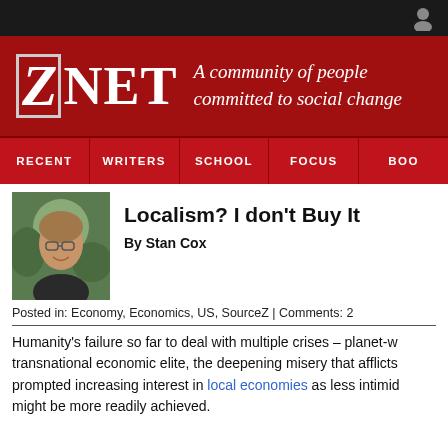ZNET — A community of people committed to social change
RECENT | WRITERS | SCHOOL | FOCUS | BOO
Localism? I don't Buy It
By Stan Cox
Posted in: Economy, Economics, US, SourceZ | Comments: 2
Humanity's failure so far to deal with multiple crises – planet-w... transnational economic elite, the deepening misery that afflicts... prompted increasing interest in local economies as less intimi... might be more readily achieved.